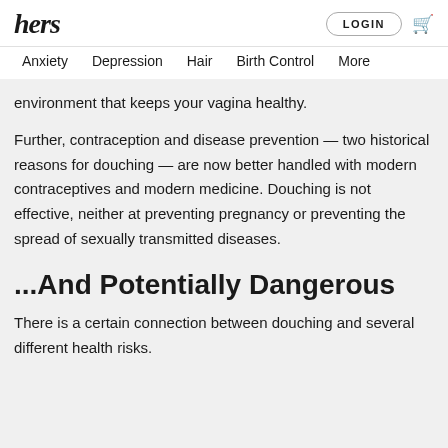hers
Anxiety  Depression  Hair  Birth Control  More
environment that keeps your vagina healthy.
Further, contraception and disease prevention — two historical reasons for douching — are now better handled with modern contraceptives and modern medicine. Douching is not effective, neither at preventing pregnancy or preventing the spread of sexually transmitted diseases.
...And Potentially Dangerous
There is a certain connection between douching and several different health risks.